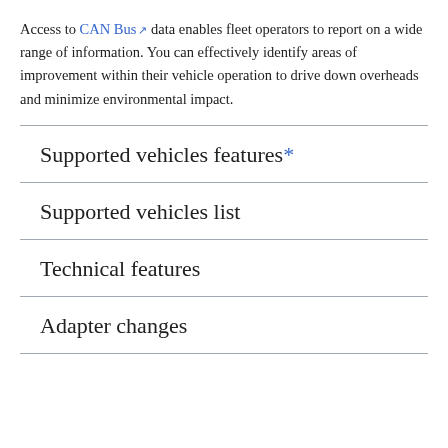Access to CAN Bus data enables fleet operators to report on a wide range of information. You can effectively identify areas of improvement within their vehicle operation to drive down overheads and minimize environmental impact.
Supported vehicles features*
Supported vehicles list
Technical features
Adapter changes